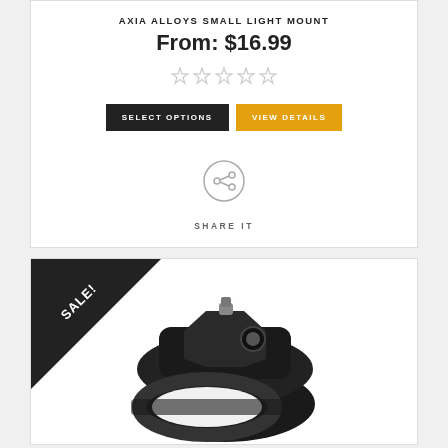AXIA ALLOYS SMALL LIGHT MOUNT
From: $16.99
[Figure (other): Five empty/unfilled star rating icons in gray]
SELECT OPTIONS | VIEW DETAILS
[Figure (other): Share icon — circle with share/network symbol]
SHARE IT
[Figure (photo): Product photo of Axia Alloys Small Light Mount — a black anodized aluminum clamp/bracket with circular opening and mounting hole, shown on white background. A SALE! banner in the top-left corner of the product card.]